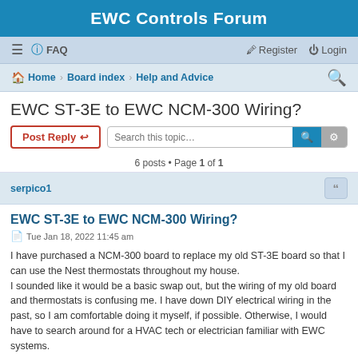EWC Controls Forum
≡  FAQ    Register  Login
Home · Board index · Help and Advice
EWC ST-3E to EWC NCM-300 Wiring?
Post Reply  Search this topic…
6 posts • Page 1 of 1
serpico1
EWC ST-3E to EWC NCM-300 Wiring?
Tue Jan 18, 2022 11:45 am
I have purchased a NCM-300 board to replace my old ST-3E board so that I can use the Nest thermostats throughout my house.
I sounded like it would be a basic swap out, but the wiring of my old board and thermostats is confusing me. I have down DIY electrical wiring in the past, so I am comfortable doing it myself, if possible. Otherwise, I would have to search around for a HVAC tech or electrician familiar with EWC systems.